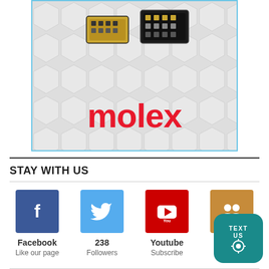[Figure (photo): Molex advertisement showing electronic connectors (gold and black SMD connectors) on a hexagonal white geometric background with the Molex logo in red text]
STAY WITH US
[Figure (infographic): Social media icons row: Facebook (Like our page), Twitter (238 Followers), Youtube (Subscribe), and a group/members icon (15... Members) with a teal TEXT US badge overlay in the bottom right]
Facebook
Like our page
238
Followers
Youtube
Subscribe
15...
Mem...